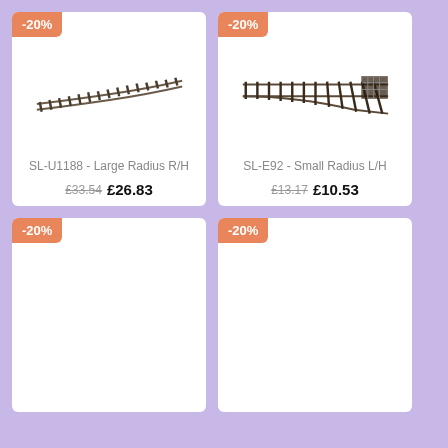[Figure (photo): Model railway track section curved right-hand, large radius - SL-U1188]
SL-U1188 - Large Radius R/H
£33.54 £26.83
[Figure (photo): Model railway track section switch left-hand, small radius - SL-E92]
SL-E92 - Small Radius L/H
£13.17 £10.53